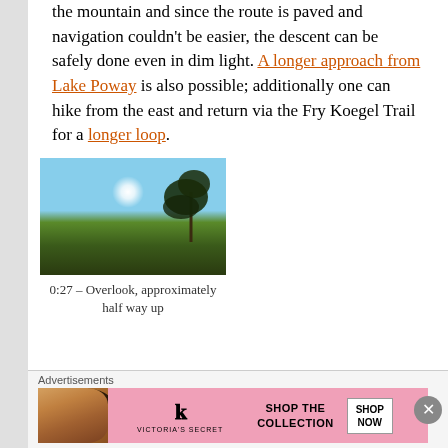the mountain and since the route is paved and navigation couldn't be easier, the descent can be safely done even in dim light. A longer approach from Lake Poway is also possible; additionally one can hike from the east and return via the Fry Koegel Trail for a longer loop.
[Figure (photo): Outdoor overlook photo showing a pine tree silhouetted against a bright sun with blue sky, hills and vegetation in background]
0:27 – Overlook, approximately half way up
Advertisements
[Figure (illustration): Victoria's Secret advertisement banner showing a model, VS logo, 'Shop the Collection' text, and 'Shop Now' button on pink background]